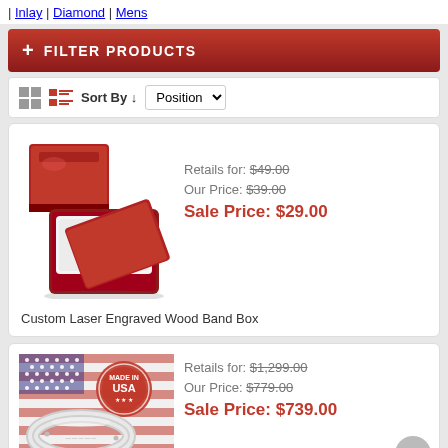| Inlay | Diamond | Mens
+ FILTER PRODUCTS
Sort By ↓ Position
[Figure (photo): Red custom laser engraved wood band box, shown closed and open with white interior]
Retails for: $49.00
Our Price: $39.00
Sale Price: $29.00
Custom Laser Engraved Wood Band Box
[Figure (photo): Silver diamond ring on American flag background with Made in USA stamp]
Retails for: $1,299.00
Our Price: $779.00
Sale Price: $739.00